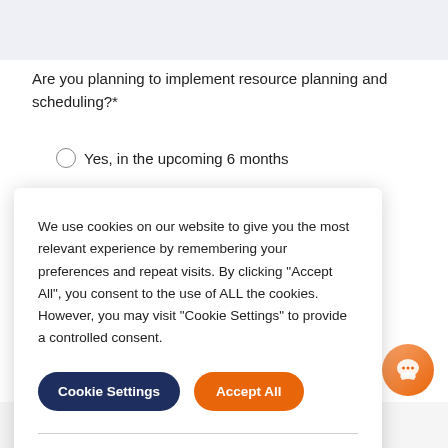[Figure (screenshot): Gray top bar area of a web page form]
Are you planning to implement resource planning and scheduling?*
Yes, in the upcoming 6 months
We use cookies on our website to give you the most relevant experience by remembering your preferences and repeat visits. By clicking "Accept All", you consent to the use of ALL the cookies. However, you may visit "Cookie Settings" to provide a controlled consent.
Cookie Settings  Accept All
Read More
Subscribe to our blog